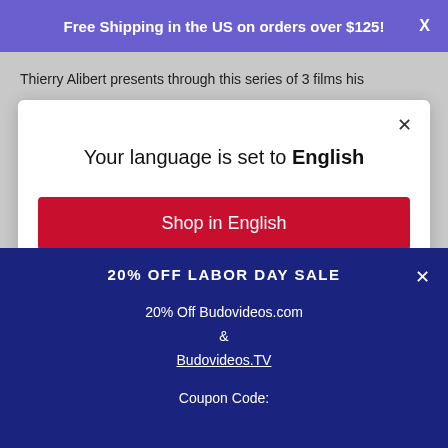Free Shipping in the US on orders over $125!
Thierry Alibert presents through this series of 3 films his
Your language is set to English
Shop in English
20% OFF LABOR DAY SALE
20% Off Budovideos.com & Budovideos.TV
Coupon Code: